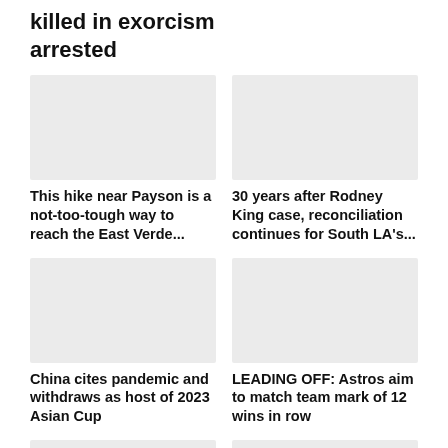killed in exorcism arrested
[Figure (photo): News article thumbnail image placeholder (gray)]
This hike near Payson is a not-too-tough way to reach the East Verde...
[Figure (photo): News article thumbnail image placeholder (gray)]
30 years after Rodney King case, reconciliation continues for South LA's...
[Figure (photo): News article thumbnail image placeholder (gray)]
China cites pandemic and withdraws as host of 2023 Asian Cup
[Figure (photo): News article thumbnail image placeholder (gray)]
LEADING OFF: Astros aim to match team mark of 12 wins in row
[Figure (photo): News article thumbnail image placeholder (gray)]
[Figure (photo): News article thumbnail image placeholder (gray)]